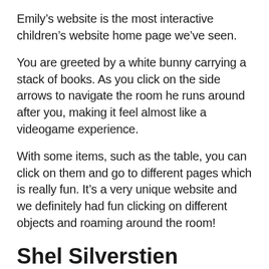Emily's website is the most interactive children's website home page we've seen.
You are greeted by a white bunny carrying a stack of books. As you click on the side arrows to navigate the room he runs around after you, making it feel almost like a videogame experience.
With some items, such as the table, you can click on them and go to different pages which is really fun. It's a very unique website and we definitely had fun clicking on different objects and roaming around the room!
Shel Silverstien